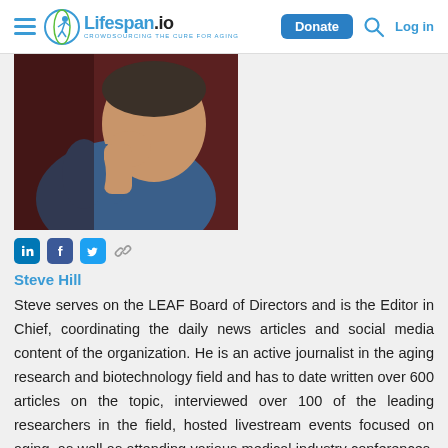Lifespan.io — Donate | Log in
[Figure (photo): Profile photo of Steve Hill, a person in a blue top resting chin on hand]
[Figure (other): Social media icons: LinkedIn, Facebook, Twitter, and a link icon]
Steve Hill
Steve serves on the LEAF Board of Directors and is the Editor in Chief, coordinating the daily news articles and social media content of the organization. He is an active journalist in the aging research and biotechnology field and has to date written over 600 articles on the topic, interviewed over 100 of the leading researchers in the field, hosted livestream events focused on aging, as well as attending various medical industry conferences. His work has been featured in H+ magazine, Psychology Today, Singularity Weblog, Standpoint Magazine,